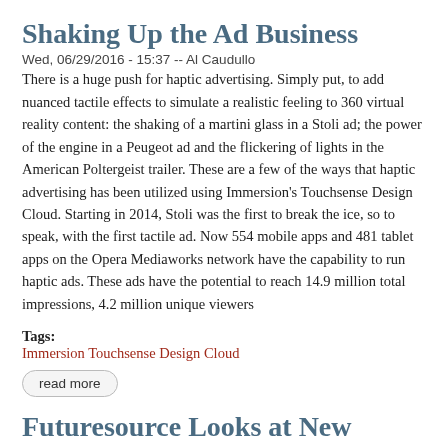Shaking Up the Ad Business
Wed, 06/29/2016 - 15:37 -- Al Caudullo
There is a huge push for haptic advertising. Simply put, to add nuanced tactile effects to simulate a realistic feeling to 360 virtual reality content: the shaking of a martini glass in a Stoli ad; the power of the engine in a Peugeot ad and the flickering of lights in the American Poltergeist trailer. These are a few of the ways that haptic advertising has been utilized using Immersion’s Touchsense Design Cloud. Starting in 2014, Stoli was the first to break the ice, so to speak, with the first tactile ad. Now 554 mobile apps and 481 tablet apps on the Opera Mediaworks network have the capability to run haptic ads. These ads have the potential to reach 14.9 million total impressions, 4.2 million unique viewers
Tags:
Immersion Touchsense Design Cloud
read more
Futuresource Looks at New Content Horizons